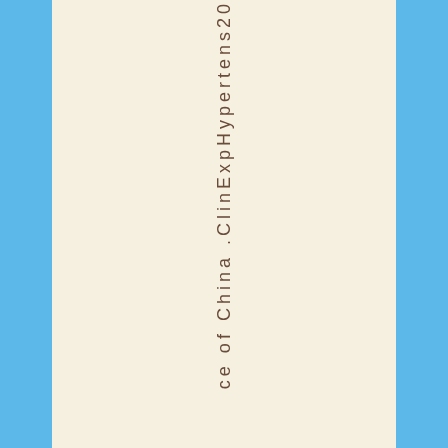ce of China .ClinExpHypertens20